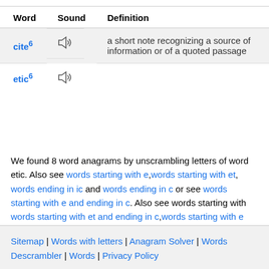| Word | Sound | Definition |
| --- | --- | --- |
| cite⁶ | 🔊 | a short note recognizing a source of information or of a quoted passage |
| etic⁶ | 🔊 |  |
We found 8 word anagrams by unscrambling letters of word etic. Also see words starting with e,words starting with et, words ending in ic and words ending in c or see words starting with e and ending in c. Also see words starting with words starting with et and ending in c,words starting with e and ending in ic
Sitemap | Words with letters | Anagram Solver | Words Descrambler | Words | Privacy Policy